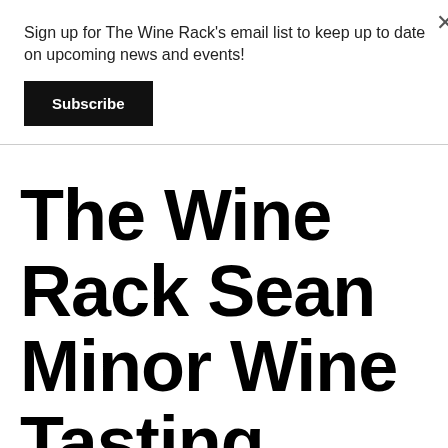Sign up for The Wine Rack's email list to keep up to date on upcoming news and events!
Subscribe
The Wine Rack Sean Minor Wine Tasting Event Wednesday, September 26,